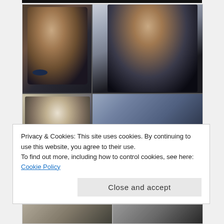[Figure (photo): Collage of four photos of actors (Timothy Dalton as James Bond): top-left shows a man in tuxedo with bow tie, top-right shows a man in black holding a knife/object, bottom-left shows a man leaning over in white shirt, bottom-right shows a man in formal wear being held.]
Privacy & Cookies: This site uses cookies. By continuing to use this website, you agree to their use.
To find out more, including how to control cookies, see here: Cookie Policy
[Figure (photo): Bottom strip showing partial photos of people, two sections visible.]